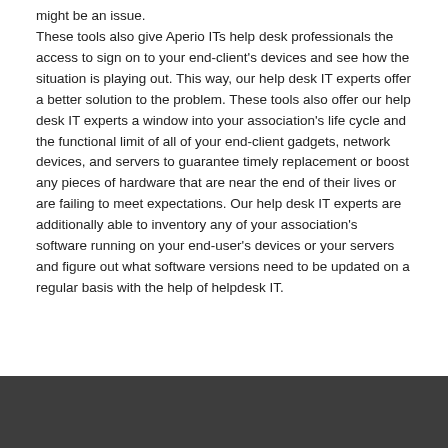might be an issue. These tools also give Aperio ITs help desk professionals the access to sign on to your end-client's devices and see how the situation is playing out. This way, our help desk IT experts offer a better solution to the problem. These tools also offer our help desk IT experts a window into your association's life cycle and the functional limit of all of your end-client gadgets, network devices, and servers to guarantee timely replacement or boost any pieces of hardware that are near the end of their lives or are failing to meet expectations. Our help desk IT experts are additionally able to inventory any of your association's software running on your end-user's devices or your servers and figure out what software versions need to be updated on a regular basis with the help of helpdesk IT.